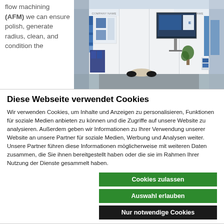flow machining (AFM) we can ensure polish, generate radius, clean, and condition the
[Figure (photo): Trade show booth with white modular walls, display screens, seating area, and company branding.]
Diese Webseite verwendet Cookies
Wir verwenden Cookies, um Inhalte und Anzeigen zu personalisieren, Funktionen für soziale Medien anbieten zu können und die Zugriffe auf unsere Website zu analysieren. Außerdem geben wir Informationen zu Ihrer Verwendung unserer Website an unsere Partner für soziale Medien, Werbung und Analysen weiter. Unsere Partner führen diese Informationen möglicherweise mit weiteren Daten zusammen, die Sie ihnen bereitgestellt haben oder die sie im Rahmen Ihrer Nutzung der Dienste gesammelt haben.
Cookies zulassen
Auswahl erlauben
Nur notwendige Cookies
Notwendig  Präferenzen  Statistiken  Marketing  Details zeigen